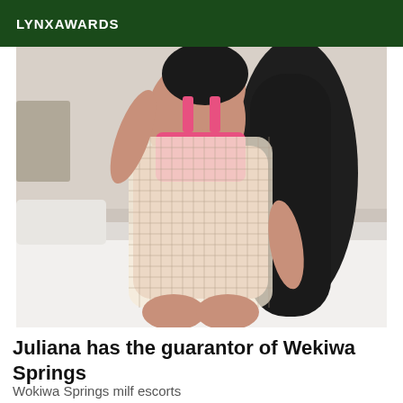LYNXAWARDS
[Figure (photo): A woman wearing a white mesh/crochet mini dress over a pink outfit, sitting on a white bed, with long dark hair.]
Juliana has the guarantor of Wekiwa Springs
Wokiwa Springs milf escorts